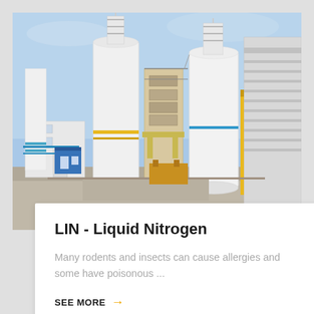[Figure (photo): Industrial facility with large white cylindrical liquid nitrogen storage tanks and towers against a blue sky, with supporting pipework and structures visible.]
LIN - Liquid Nitrogen
Many rodents and insects can cause allergies and some have poisonous ...
SEE MORE →